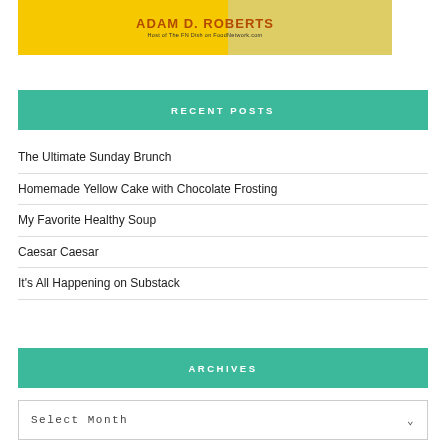[Figure (photo): Banner image for Adam D. Roberts, Host of The FN Dish on FoodNetwork.com, with yellow background and text]
RECENT POSTS
The Ultimate Sunday Brunch
Homemade Yellow Cake with Chocolate Frosting
My Favorite Healthy Soup
Caesar Caesar
It's All Happening on Substack
ARCHIVES
Select Month